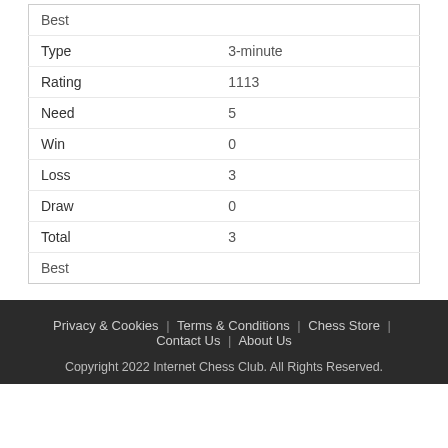|  |  |
| --- | --- |
| Best |  |
| Type | 3-minute |
| Rating | 1113 |
| Need | 5 |
| Win | 0 |
| Loss | 3 |
| Draw | 0 |
| Total | 3 |
| Best |  |
Privacy & Cookies | Terms & Conditions | Chess Store | Contact Us | About Us
Copyright 2022 Internet Chess Club. All Rights Reserved.